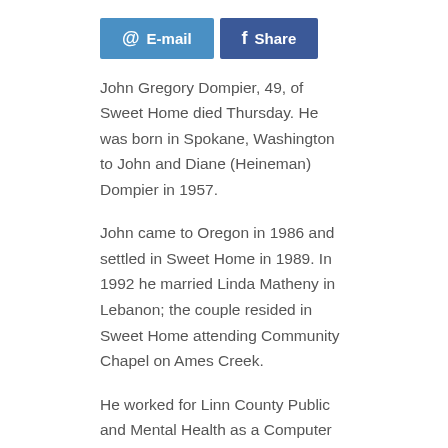[Figure (other): Two social sharing buttons: an Email button (blue with @ symbol) and a Facebook Share button (dark blue with f icon)]
John Gregory Dompier, 49, of Sweet Home died Thursday. He was born in Spokane, Washington to John and Diane (Heineman) Dompier in 1957.
John came to Oregon in 1986 and settled in Sweet Home in 1989. In 1992 he married Linda Matheny in Lebanon; the couple resided in Sweet Home attending Community Chapel on Ames Creek.
He worked for Linn County Public and Mental Health as a Computer Technician. John enjoyed relaxing in his hot tub, going to the coast and getting together with friends. He loved his family very much.
John is survived by wife, Linda Dompier, of Sweet Home; children, Christina Dompier of Ashton